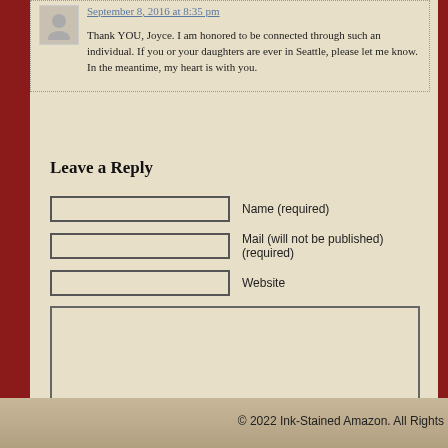September 8, 2016 at 8:35 pm
Thank YOU, Joyce. I am honored to be connected through such an individual. If you or your daughters are ever in Seattle, please let me know. In the meantime, my heart is with you.
Leave a Reply
Name (required)
Mail (will not be published) (required)
Website
Submit Comment
© 2022 Ink-Stained Amazon. All Rights